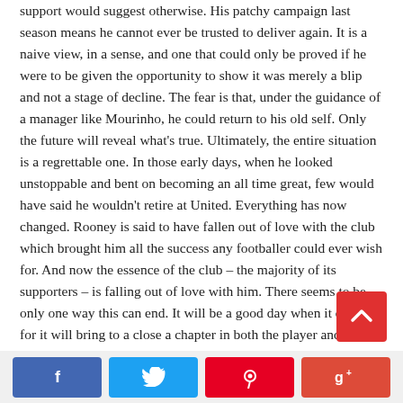support would suggest otherwise. His patchy campaign last season means he cannot ever be trusted to deliver again. It is a naive view, in a sense, and one that could only be proved if he were to be given the opportunity to show it was merely a blip and not a stage of decline. The fear is that, under the guidance of a manager like Mourinho, he could return to his old self. Only the future will reveal what's true. Ultimately, the entire situation is a regrettable one. In those early days, when he looked unstoppable and bent on becoming an all time great, few would have said he wouldn't retire at United. Everything has now changed. Rooney is said to have fallen out of love with the club which brought him all the success any footballer could ever wish for. And now the essence of the club – the majority of its supporters – is falling out of love with him. There seems to be only one way this can end. It will be a good day when it does, for it will bring to a close a chapter in both the player and the club's history that has been regrettable for all who have had to witness it unfold.